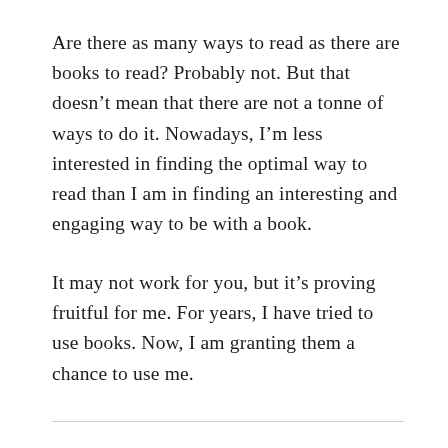Are there as many ways to read as there are books to read? Probably not. But that doesn't mean that there are not a tonne of ways to do it. Nowadays, I'm less interested in finding the optimal way to read than I am in finding an interesting and engaging way to be with a book.
It may not work for you, but it's proving fruitful for me. For years, I have tried to use books. Now, I am granting them a chance to use me.